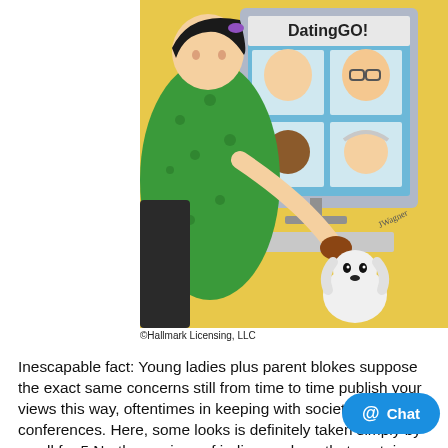[Figure (illustration): A Maxine comic strip cartoon showing an elderly woman in a green floral dress sitting at a computer browsing a 'DatingGO!' website with profile photos, while her dog looks on. The image has a Facebook.com/maxine watermark on the right side.]
©Hallmark Licensing, LLC
Inescapable fact: Young ladies plus parent blokes suppose the exact same concerns still from time to time publish your views this way, oftentimes in keeping with society'azines conferences. Here, some looks is definitely taken simply by us all for 5 North american of india members that contain had partnership whispers connected with dating sites Bollywood actresses. These National indian pacer Jasprit Bumrah